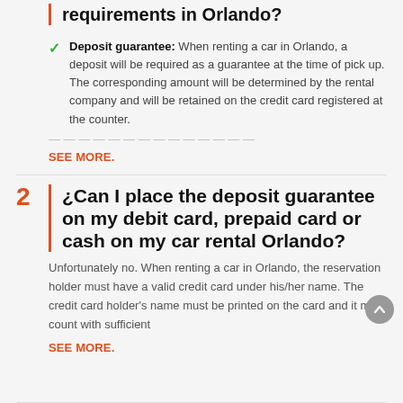requirements in Orlando?
Deposit guarantee: When renting a car in Orlando, a deposit will be required as a guarantee at the time of pick up. The corresponding amount will be determined by the rental company and will be retained on the credit card registered at the counter.
SEE MORE.
2 ¿Can I place the deposit guarantee on my debit card, prepaid card or cash on my car rental Orlando?
Unfortunately no. When renting a car in Orlando, the reservation holder must have a valid credit card under his/her name. The credit card holder's name must be printed on the card and it must count with sufficient
SEE MORE.